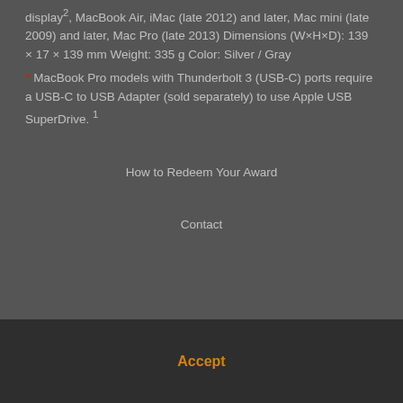display², MacBook Air, iMac (late 2012) and later, Mac mini (late 2009) and later, Mac Pro (late 2013) Dimensions (W×H×D): 139 × 17 × 139 mm Weight: 335 g Color: Silver / Gray
* MacBook Pro models with Thunderbolt 3 (USB-C) ports require a USB-C to USB Adapter (sold separately) to use Apple USB SuperDrive. 1
How to Redeem Your Award
Contact
Accept